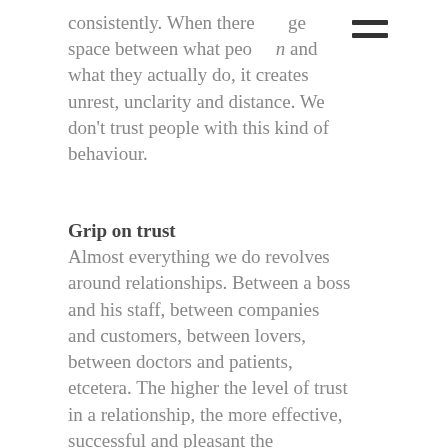consistently. When there   ge space between what peo   n and what they actually do, it creates unrest, unclarity and distance. We don't trust people with this kind of behaviour.
[Figure (other): Hamburger menu icon (two horizontal lines)]
Grip on trust
Almost everything we do revolves around relationships. Between a boss and his staff, between companies and customers, between lovers, between doctors and patients, etcetera. The higher the level of trust in a relationship, the more effective, successful and pleasant the relationship-goals will be achieved. Trust works as a lubricant. Everything runs smoother, with less friction. And when relations run smooth everything around it runs a bit